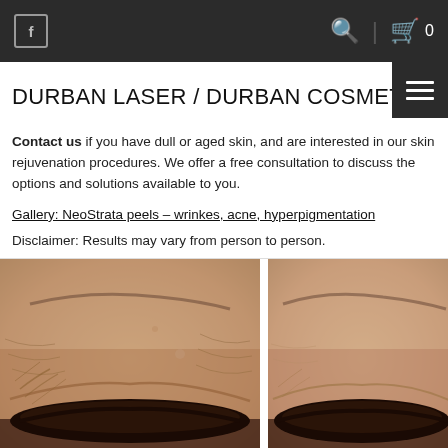DURBAN LASER / DURBAN COSMETIC LASER [hamburger menu] [search] [cart 0]
DURBAN LASER / DURBAN COSMETIC LA...
Contact us if you have dull or aged skin, and are interested in our skin rejuvenation procedures. We offer a free consultation to discuss the options and solutions available to you.
Gallery: NeoStrata peels – wrinkes, acne, hyperpigmentation
Disclaimer: Results may vary from person to person.
[Figure (photo): Before and after photo comparison of skin around the eye area showing wrinkle reduction after NeoStrata peel treatment. Two side-by-side close-up photos of an eye with surrounding skin — left image shows more visible wrinkles, right image shows smoother skin.]